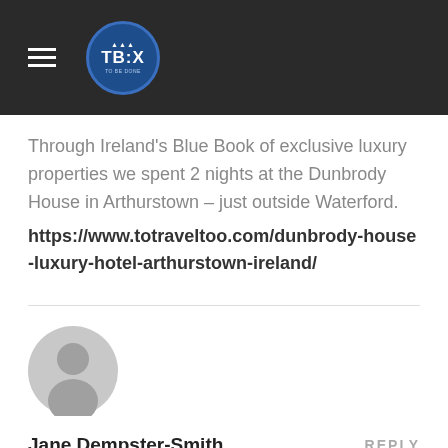TBX
Through Ireland's Blue Book of exclusive luxury properties we spent 2 nights at the Dunbrody House in Arthurstown – just outside Waterford. https://www.totraveltoo.com/dunbrody-house-luxury-hotel-arthurstown-ireland/
[Figure (illustration): Default user avatar — circular grey silhouette of a person]
Jane Dempster-Smith
REPLY
May 8, 2018 at 9:58 pm